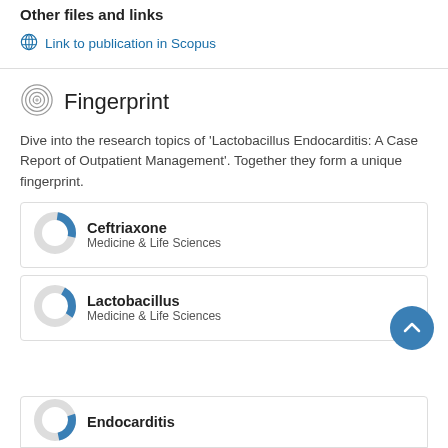Other files and links
Link to publication in Scopus
Fingerprint
Dive into the research topics of 'Lactobacillus Endocarditis: A Case Report of Outpatient Management'. Together they form a unique fingerprint.
Ceftriaxone — Medicine & Life Sciences
Lactobacillus — Medicine & Life Sciences
Endocarditis — (partial)